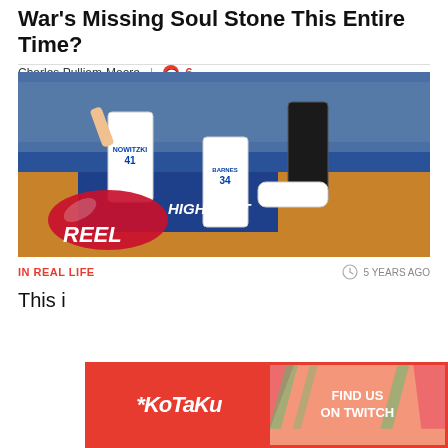War's Missing Soul Stone This Entire Time?
Charles Pulliam-Moore  |  6
[Figure (screenshot): NBA 2K basketball video game screenshot showing players on the court with 'HIGHLIGHT REEL' overlay text. Players include #41 Nowitzki and #34 Harris.]
IN REAL LIFE
5 YEARS AGO
This i
[Figure (other): Kotaku advertisement banner with red background on left showing Kotaku logo and pink/salmon right side saying FIND US ON TWITCH]